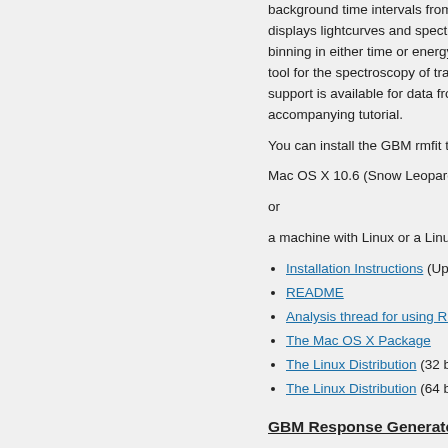background time intervals from data f... displays lightcurves and spectra using binning in either time or energy. Origina tool for the spectroscopy of transient so support is available for data from other i accompanying tutorial.
You can install the GBM rmfit tool using
Mac OS X 10.6 (Snow Leopard) to OS X
or
a machine with Linux or a Linux derivativ
Installation Instructions (Updated
README
Analysis thread for using RMFIT o
The Mac OS X Package
The Linux Distribution (32 bit vers
The Linux Distribution (64 bit vers
GBM Response Generator
The Fermi GBM team has provided a p You will need about 2.5 GB of disk spa interactive web interface. The response arbitrary source location at an arbitra candidate, non-triggered GRBs or solar that a set of standard, optimally gen